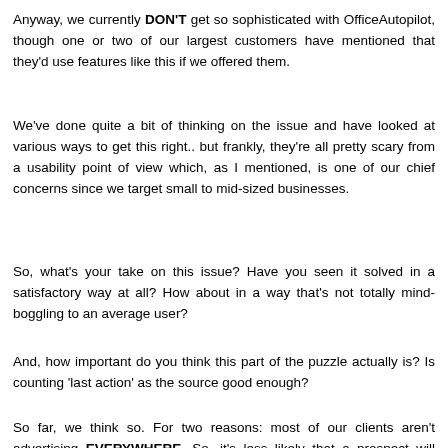Anyway, we currently DON'T get so sophisticated with OfficeAutopilot, though one or two of our largest customers have mentioned that they'd use features like this if we offered them.
We've done quite a bit of thinking on the issue and have looked at various ways to get this right.. but frankly, they're all pretty scary from a usability point of view which, as I mentioned, is one of our chief concerns since we target small to mid-sized businesses.
So, what's your take on this issue? Have you seen it solved in a satisfactory way at all? How about in a way that's not totally mind-boggling to an average user?
And, how important do you think this part of the puzzle actually is? Is counting 'last action' as the source good enough?
So far, we think so. For two reasons: most of our clients aren't advertising EVERYWHERE. So, it's less likely that a prospect will bump into more than one ad. And, two, we